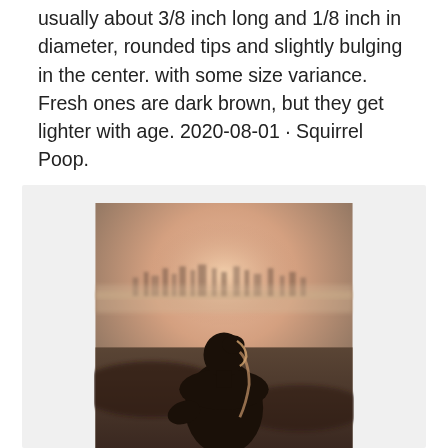usually about 3/8 inch long and 1/8 inch in diameter, rounded tips and slightly bulging in the center. with some size variance. Fresh ones are dark brown, but they get lighter with age. 2020-08-01 · Squirrel Poop.
[Figure (photo): A person seen from behind, silhouetted against a hazy cityscape at dusk or dawn, with warm golden-peach light illuminating the sky and a blurred city in the background.]